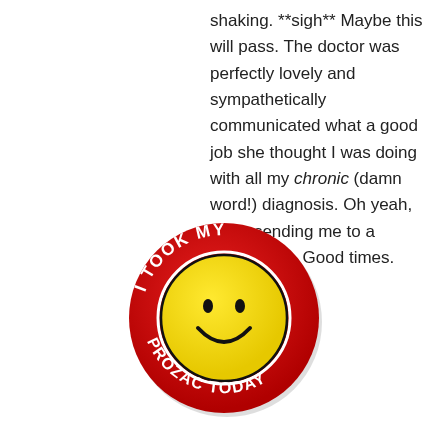shaking. **sigh** Maybe this will pass. The doctor was perfectly lovely and sympathetically communicated what a good job she thought I was doing with all my chronic (damn word!) diagnosis. Oh yeah, she's sending me to a neurologist. Good times.
[Figure (illustration): A round red pin/button badge with white text reading 'I TOOK MY PROZAC TODAY' arranged in a circle around a yellow smiley face in the center.]